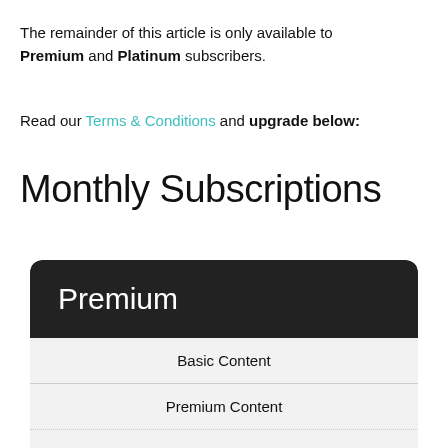The remainder of this article is only available to Premium and Platinum subscribers.
Read our Terms & Conditions and upgrade below:
Monthly Subscriptions
| Premium |
| --- |
| Basic Content |
| Premium Content |
| - |
| - |
| 0.00 /month |